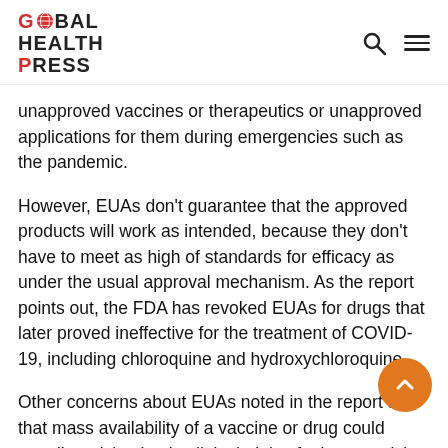GLOBAL HEALTH PRESS
unapproved vaccines or therapeutics or unapproved applications for them during emergencies such as the pandemic.
However, EUAs don't guarantee that the approved products will work as intended, because they don't have to meet as high of standards for efficacy as under the usual approval mechanism. As the report points out, the FDA has revoked EUAs for drugs that later proved ineffective for the treatment of COVID-19, including chloroquine and hydroxychloroquine.
Other concerns about EUAs noted in the report are that mass availability of a vaccine or drug could curtail participation in clinical trials of other promising products and that using a drug originally approved another indication to treat COVID-19 could create a shortage of the drug for those needing it for its